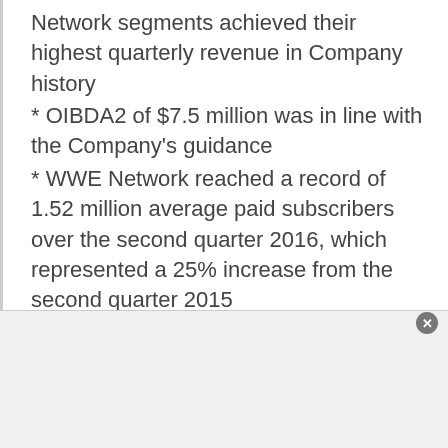Network segments achieved their highest quarterly revenue in Company history
* OIBDA2 of $7.5 million was in line with the Company's guidance
* WWE Network reached a record of 1.52 million average paid subscribers over the second quarter 2016, which represented a 25% increase from the second quarter 2015
* SmackDown transitioned to a live